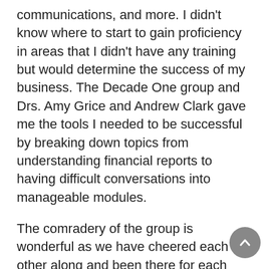communications, and more. I didn't know where to start to gain proficiency in areas that I didn't have any training but would determine the success of my business. The Decade One group and Drs. Amy Grice and Andrew Clark gave me the tools I needed to be successful by breaking down topics from understanding financial reports to having difficult conversations into manageable modules.
The comradery of the group is wonderful as we have cheered each other along and been there for each other in our successes and failures. I have no doubt that our group represents the next generation of successful veterinarians, practice owners, and leaders in our profession.
Amelie McAndrews, DVM